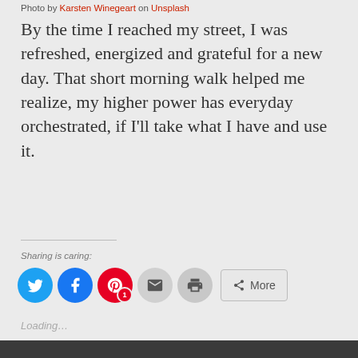Photo by Karsten Winegeart on Unsplash
By the time I reached my street, I was refreshed, energized and grateful for a new day. That short morning walk helped me realize, my higher power has everyday orchestrated, if I'll take what I have and use it.
Sharing is caring:
[Figure (infographic): Social sharing buttons: Twitter (blue circle), Facebook (blue circle), Pinterest (red circle with badge '1'), Email (grey circle), Print (grey circle), More (rectangular button with share icon)]
Loading...